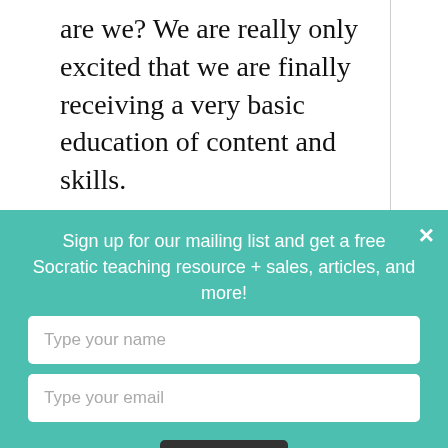are we? We are really only excited that we are finally receiving a very basic education of content and skills.
Sign up for our mailing list and get a free Socratic teaching resource + sales, articles, and more!
Type your name
Type your email
Submit